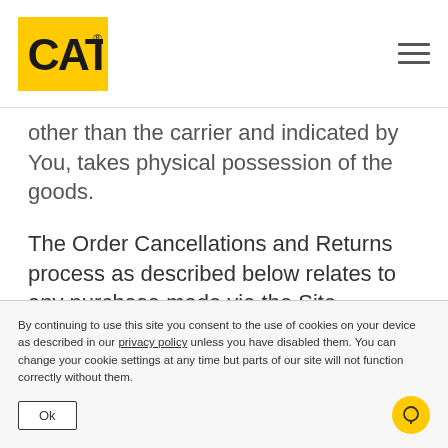[Figure (logo): CAT logo in yellow rectangle, hamburger menu icon top right]
other than the carrier and indicated by You, takes physical possession of the goods.
The Order Cancellations and Returns process as described below relates to any purchase made via the Site.
We reserve the right to extend the cancellation rights to Trader Clients (defined as any consumer
By continuing to use this site you consent to the use of cookies on your device as described in our privacy policy unless you have disabled them. You can change your cookie settings at any time but parts of our site will not function correctly without them.